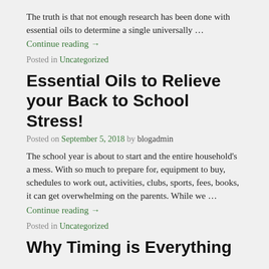The truth is that not enough research has been done with essential oils to determine a single universally …
Continue reading →
Posted in Uncategorized
Essential Oils to Relieve your Back to School Stress!
Posted on September 5, 2018 by blogadmin
The school year is about to start and the entire household's a mess. With so much to prepare for, equipment to buy, schedules to work out, activities, clubs, sports, fees, books, it can get overwhelming on the parents. While we …
Continue reading →
Posted in Uncategorized
Why Timing is Everything